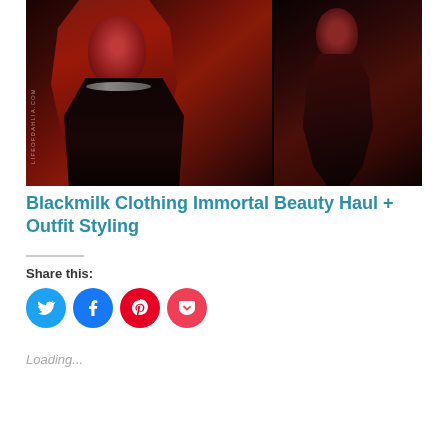[Figure (photo): Two dark red-toned fashion photos side by side: left shows a woman with long blonde hair wearing a black outfit with a silver necklace; right shows a woman in a black floral outfit standing. Watermark reads LIFEOFDAHLIA.COM.]
Blackmilk Clothing Immortal Beauty Haul + Outfit Styling
Share this:
[Figure (infographic): Row of four circular share buttons: Twitter (blue), Facebook (blue), Pinterest (red), Pocket (pink-red)]
Loading...